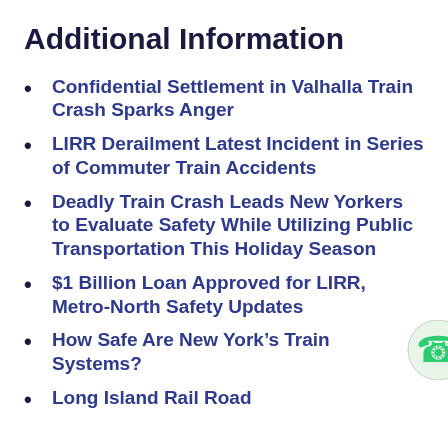Additional Information
Confidential Settlement in Valhalla Train Crash Sparks Anger
LIRR Derailment Latest Incident in Series of Commuter Train Accidents
Deadly Train Crash Leads New Yorkers to Evaluate Safety While Utilizing Public Transportation This Holiday Season
$1 Billion Loan Approved for LIRR, Metro-North Safety Updates
How Safe Are New York’s Train Systems?
Long Island Rail Road